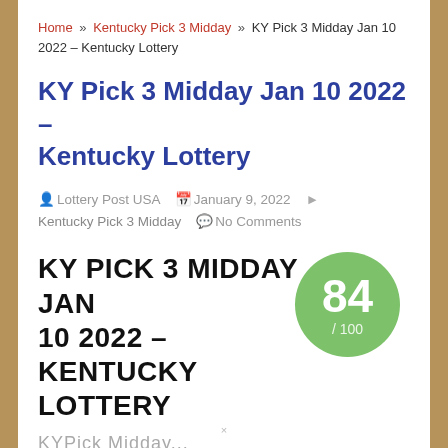Home » Kentucky Pick 3 Midday » KY Pick 3 Midday Jan 10 2022 – Kentucky Lottery
KY Pick 3 Midday Jan 10 2022 – Kentucky Lottery
Lottery Post USA  January 9, 2022  Kentucky Pick 3 Midday  No Comments
KY PICK 3 MIDDAY JAN 10 2022 – KENTUCKY LOTTERY
[Figure (infographic): Green circle badge showing score 84 / 100]
KYPick Midday...